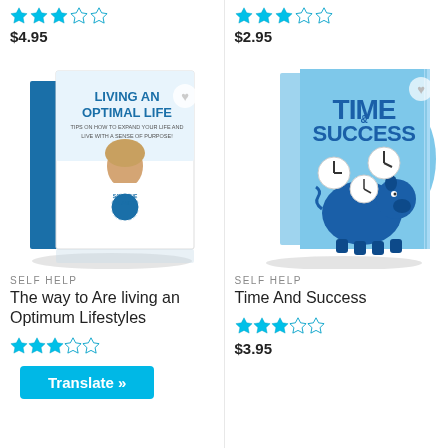[Figure (illustration): Star rating (3 out of 5, cyan stars) for left product]
$4.95
[Figure (illustration): Star rating (3 out of 5, cyan stars) for right product at top]
$2.95
[Figure (illustration): Book cover: Living an Optimal Life - Tips on how to expand your life and live with a sense of purpose, showing a woman in a Save the Planet t-shirt]
[Figure (illustration): Book cover: Time & Success - showing a piggy bank with clocks on a light blue background]
SELF HELP
The way to Are living an Optimum Lifestyles
SELF HELP
Time And Success
[Figure (illustration): Star rating (3 out of 5, cyan stars) for left product bottom]
[Figure (illustration): Star rating (3 out of 5, cyan stars) for right product bottom]
$3.95
Translate »